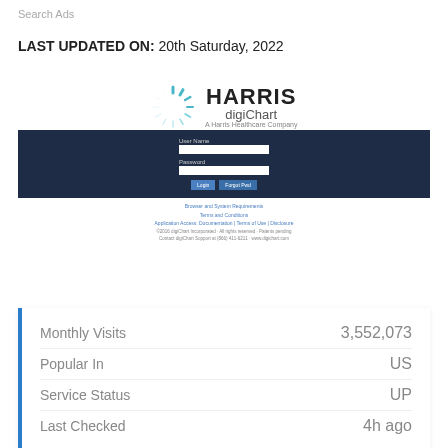Search Ads
LAST UPDATED ON: 20th Saturday, 2022
[Figure (screenshot): Harris digiChart login page screenshot showing logo, username/password fields, login button, and footer links]
|  |  |
| --- | --- |
| Monthly Visits | 3,552,073 |
| Popular In | US |
| Service Status | UP |
| Last Checked | 4h ago |